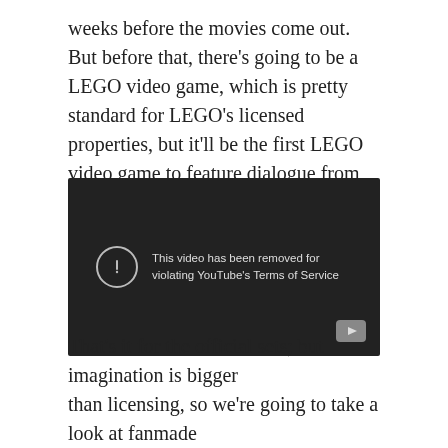weeks before the movies come out. But before that, there's going to be a LEGO video game, which is pretty standard for LEGO's licensed properties, but it'll be the first LEGO video game to feature dialogue from the film it's based on. Check out the teaser trailer below:
[Figure (screenshot): Embedded YouTube video player showing error message: 'This video has been removed for violating YouTube's Terms of Service'. Dark background with circular exclamation icon and YouTube play button in bottom right corner.]
That's it for the official sets; but imagination is bigger than licensing, so we're going to take a look at fanmade